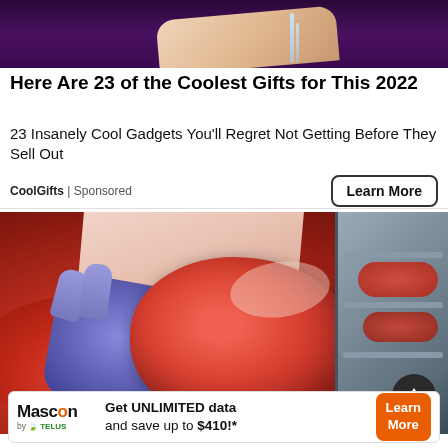[Figure (photo): Close-up of fingers and water, dark purple background, top portion of ad image]
Here Are 23 of the Coolest Gifts for This 2022
23 Insanely Cool Gadgets You'll Regret Not Getting Before They Sell Out
CoolGifts | Sponsored
Learn More
[Figure (photo): Butcher with blue gloves handling raw red meat at a meat counter display]
Get UNLIMITED data and save up to $410!*
Mascon by TELUS | Learn More